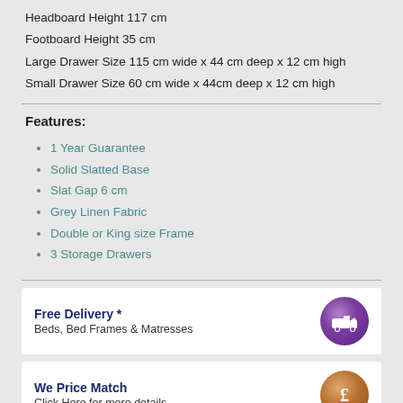Headboard Height 117 cm
Footboard Height 35 cm
Large Drawer Size 115 cm wide x 44 cm deep x 12 cm high
Small Drawer Size 60 cm wide x 44cm deep x 12 cm high
Features:
1 Year Guarantee
Solid Slatted Base
Slat Gap 6 cm
Grey Linen Fabric
Double or King size Frame
3 Storage Drawers
Free Delivery *
Beds, Bed Frames & Matresses
We Price Match
Click Here for more details